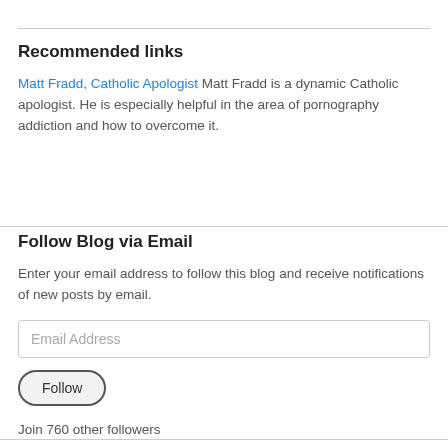Recommended links
Matt Fradd, Catholic Apologist Matt Fradd is a dynamic Catholic apologist. He is especially helpful in the area of pornography addiction and how to overcome it.
Follow Blog via Email
Enter your email address to follow this blog and receive notifications of new posts by email.
Email Address
Follow
Join 760 other followers